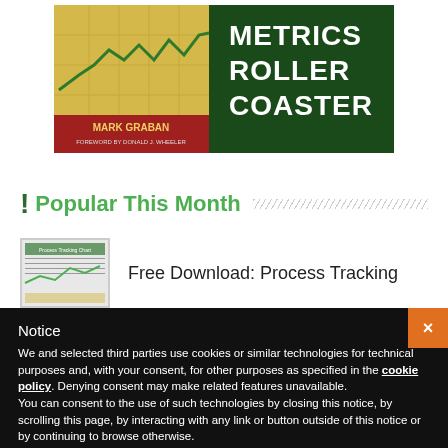[Figure (illustration): Book cover for 'Metrics Roller Coaster' by Mark Graban, Foreword by Donald J. Wheeler. Green background with large title text, yellow table/chart graphic on left side, and red author strip at bottom.]
! Popular This Month
[Figure (screenshot): Thumbnail image of a process tracking document/chart]
Free Download: Process Tracking
Notice
We and selected third parties use cookies or similar technologies for technical purposes and, with your consent, for other purposes as specified in the cookie policy. Denying consent may make related features unavailable.
You can consent to the use of such technologies by closing this notice, by scrolling this page, by interacting with any link or button outside of this notice or by continuing to browse otherwise.